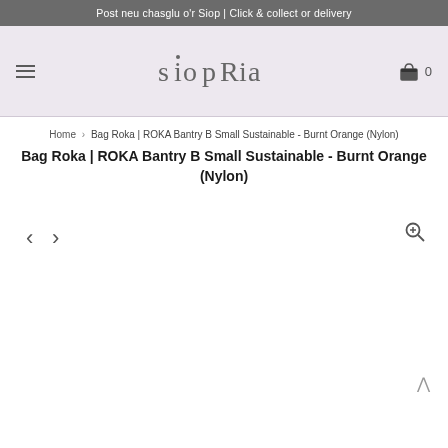Post neu chasglu o'r Siop | Click & collect or delivery
[Figure (logo): Siop Ria logo in stylized handwritten font on lavender background, with hamburger menu icon on left and shopping bag icon with '0' on right]
Home › Bag Roka | ROKA Bantry B Small Sustainable - Burnt Orange (Nylon)
Bag Roka | ROKA Bantry B Small Sustainable - Burnt Orange (Nylon)
[Figure (other): Product image area (blank/white) with left arrow, right arrow navigation controls and zoom icon in top right corner]